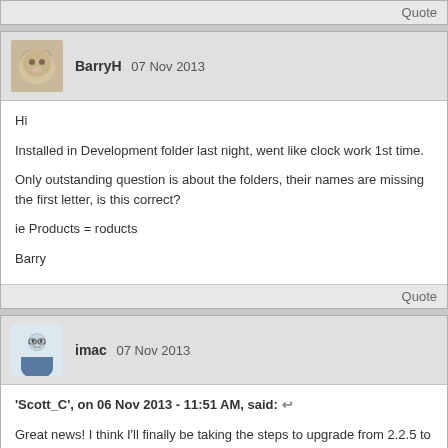Quote
BarryH 07 Nov 2013
Hi

Installed in Development folder last night, went like clock work 1st time.

Only outstanding question is about the folders, their names are missing the first letter, is this correct?

ie Products = roducts

Barry
Quote
imac 07 Nov 2013
'Scott_C', on 06 Nov 2013 - 11:51 AM, said:
Great news! I think I'll finally be taking the steps to upgrade from 2.2.5 to 4.0.3. Can I ask - is the new Reddish Theme responsive? Congratulations on all the hard work.